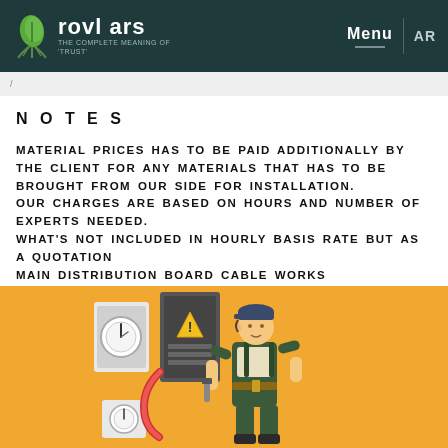rovl ars — THE COMPLETE MEANING OF 'TRUST' | Menu | AR
/
NOTES
MATERIAL PRICES HAS TO BE PAID ADDITIONALLY BY THE CLIENT FOR ANY MATERIALS THAT HAS TO BE BROUGHT FROM OUR SIDE FOR INSTALLATION. OUR CHARGES ARE BASED ON HOURS AND NUMBER OF EXPERTS NEEDED. WHAT'S NOT INCLUDED IN HOURLY BASIS RATE BUT AS A QUOTATION MAIN DISTRIBUTION BOARD CABLE WORKS CONCEALED CONDUIT WIRING
[Figure (illustration): Illustration of an electrician working on electrical distribution boards against an orange background]